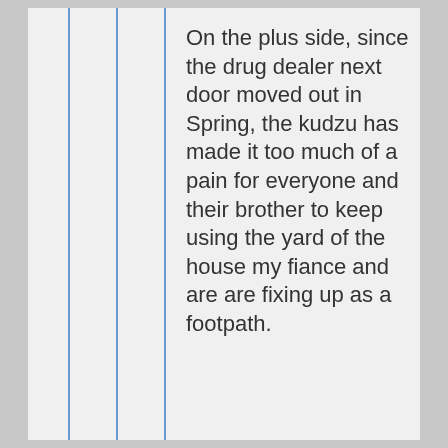On the plus side, since the drug dealer next door moved out in Spring, the kudzu has made it too much of a pain for everyone and their brother to keep using the yard of the house my fiance and are are fixing up as a footpath.